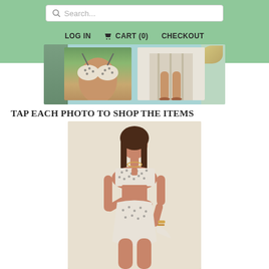[Figure (screenshot): E-commerce website header with green background containing a search bar, navigation links (LOG IN, CART (0), CHECKOUT), a banner with swimwear photos, a heading 'TAP EACH PHOTO TO SHOP THE ITEMS', and a product photo of a woman wearing a patterned bikini set.]